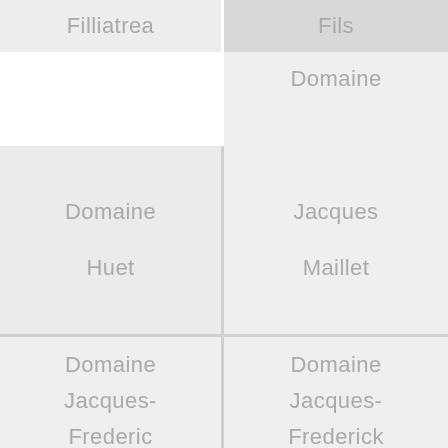| Filliatrea | Fils |
|  | Domaine |
| Domaine
Huet | Jacques
Maillet |
| Domaine
Jacques-
Frederic | Domaine
Jacques-
Frederick |